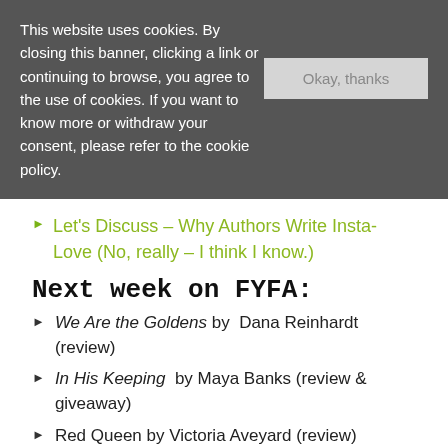This website uses cookies. By closing this banner, clicking a link or continuing to browse, you agree to the use of cookies. If you want to know more or withdraw your consent, please refer to the cookie policy.
Let's Discuss – Why Authors Write Insta-Love (No, really – I think I know.)
Next week on FYFA:
We Are the Goldens by Dana Reinhardt (review)
In His Keeping by Maya Banks (review & giveaway)
Red Queen by Victoria Aveyard (review)
Let's Discuss – I Wasn't Stressed About Blogging Until I Found Out I Was Doing it Wrong
Fun Twitter Moment: